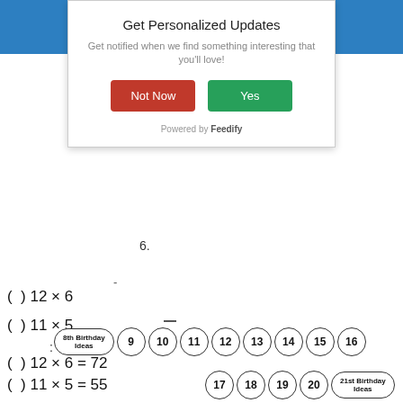[Figure (screenshot): Modal popup: 'Get Personalized Updates' with subtitle 'Get notified when we find something interesting that you'll love!', two buttons 'Not Now' (red) and 'Yes' (green), and 'Powered by Feedify' footer]
6.
-
( ) 12 × 6
( ) 11 × 5
:
( ) 12 × 6 = 72
( ) 11 × 5 = 55
8th Birthday Ideas  9  10  11  12  13  14  15  16  17  18  19  20  21st Birthday Ideas